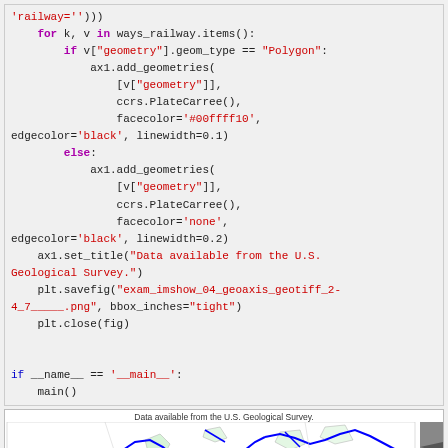Code block showing Python code for adding railway geometries and saving a figure, followed by a main guard block
[Figure (screenshot): Partial map plot showing railway lines in blue and light green polygons on a white background, with title 'Data available from the U.S. Geological Survey.']